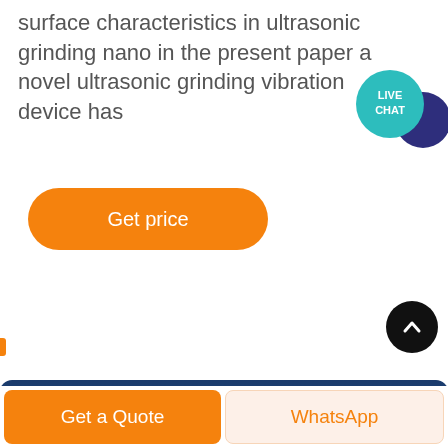surface characteristics in ultrasonic grinding nano in the present paper a novel ultrasonic grinding vibration device has
[Figure (illustration): Live chat icon: teal circular speech bubble with 'LIVE CHAT' text, overlapping with a dark navy speech bubble behind it]
[Figure (illustration): Orange rounded rectangle 'Get price' button]
[Figure (photo): Blue sky gradient background image, lighter blue at bottom transitioning to darker blue at top, with a faint industrial structure silhouette at the bottom center]
[Figure (illustration): Black circular scroll-to-top button with white upward chevron arrow]
[Figure (illustration): Bottom action bar with orange 'Get a Quote' button on left and light peach 'WhatsApp' button on right]